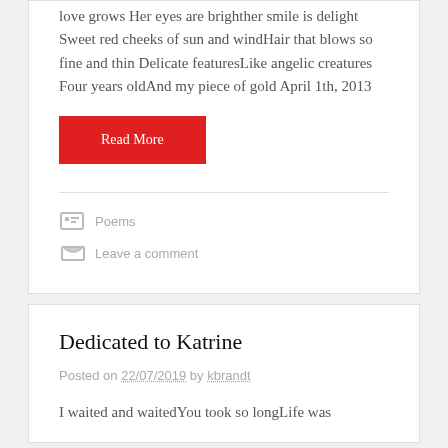love grows Her eyes are brighther smile is delight Sweet red cheeks of sun and windHair that blows so fine and thin Delicate featuresLike angelic creatures Four years oldAnd my piece of gold April 1th, 2013
Read More
Poems
Leave a comment
Dedicated to Katrine
Posted on 22/07/2019 by kbrandt
I waited and waitedYou took so longLife was